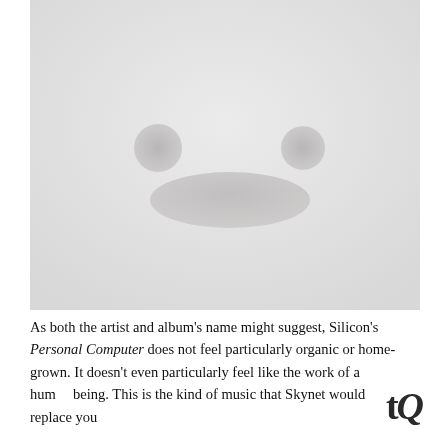[Figure (photo): Close-up photograph of a white Apple AirPods charging case showing the front face with two small circular indentations (resembling eyes) and one elongated oval indentation (resembling a mouth), giving the case an anthropomorphic face-like appearance. The background is light grey/white.]
As both the artist and album's name might suggest, Silicon's Personal Computer does not feel particularly organic or home-grown. It doesn't even particularly feel like the work of a human being. This is the kind of music that Skynet would replace you